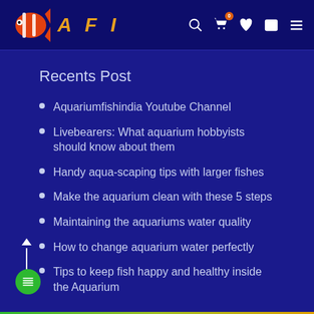AFI - Aquariumfishindia
Recents Post
Aquariumfishindia Youtube Channel
Livebearers: What aquarium hobbyists should know about them
Handy aqua-scaping tips with larger fishes
Make the aquarium clean with these 5 steps
Maintaining the aquariums water quality
How to change aquarium water perfectly
Tips to keep fish happy and healthy inside the Aquarium